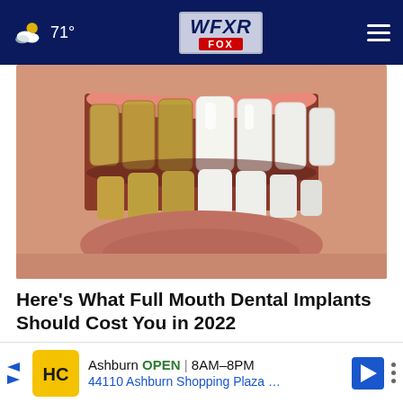71° WFXR FOX
[Figure (photo): Close-up photo of a person's smile showing a before-and-after comparison of teeth whitening or dental implants — left half shows yellowed/stained teeth, right half shows bright white teeth.]
Here's What Full Mouth Dental Implants Should Cost You in 2022
Dental Implants | Search Ads
Ashburn OPEN | 8AM–8PM 44110 Ashburn Shopping Plaza …